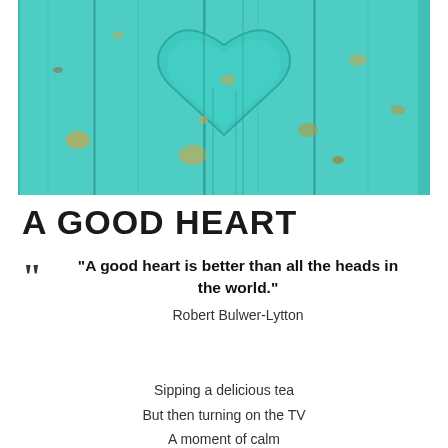[Figure (photo): Weathered turquoise/teal painted wooden boards with a heart-shaped cutout carved into the center, showing aged paint with rust and yellow spots]
A GOOD HEART
“A good heart is better than all the heads in the world.” Robert Bulwer-Lytton
Sipping a delicious tea
But then turning on the TV
A moment of calm